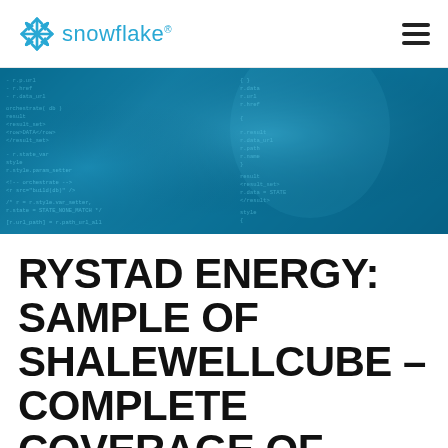snowflake®
[Figure (illustration): Dark teal/blue hero banner image showing blurred code text on a dark background, representing data or programming environment]
RYSTAD ENERGY: SAMPLE OF SHALEWELLCUBE – COMPLETE COVERAGE OF NORTH AMERICAN WELL DATA